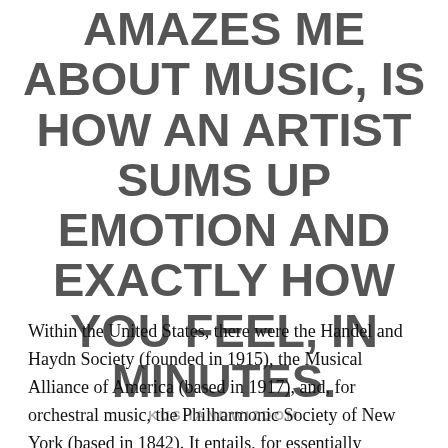AMAZES ME ABOUT MUSIC, IS HOW AN ARTIST SUMS UP EMOTION AND EXACTLY HOW YOU FEEL, IN MINUTES.
KUSHANDWIZDOM
Within the United States, there were the Handel and Haydn Society (founded in 1915), the Musical Alliance of America (based in 1917), and, for orchestral music, the Philharmonic Society of New York (based in 1842). It entails, for essentially